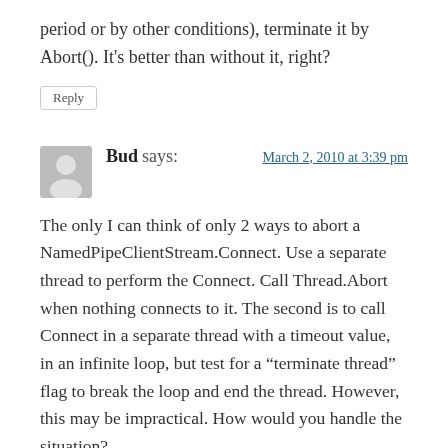period or by other conditions), terminate it by Abort(). It's better than without it, right?
Reply
Bud says: March 2, 2010 at 3:39 pm
The only I can think of only 2 ways to abort a NamedPipeClientStream.Connect. Use a separate thread to perform the Connect. Call Thread.Abort when nothing connects to it. The second is to call Connect in a separate thread with a timeout value, in an infinite loop, but test for a “terminate thread” flag to break the loop and end the thread. However, this may be impractical. How would you handle the situation?